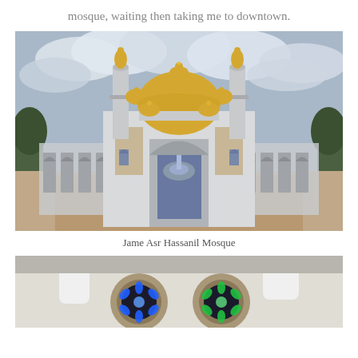mosque, waiting then taking me to downtown.
[Figure (photo): Jame Asr Hassanil Mosque exterior with golden domes, minarets, arched colonnades, courtyard fountain and patterned tiled floor under a cloudy sky]
Jame Asr Hassanil Mosque
[Figure (photo): Close-up of two decorative circular ornaments with blue and green LED flower patterns on a light-colored surface with cylindrical objects partially visible]